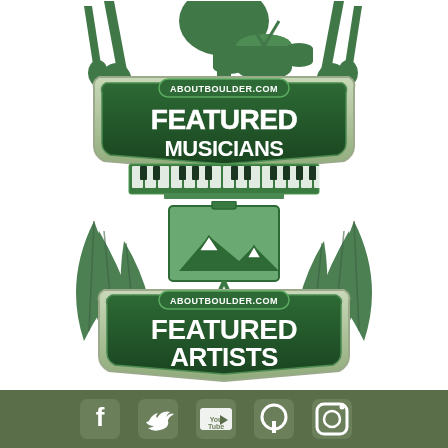[Figure (logo): AboutBoulder.com Featured Musicians logo with green music instruments silhouette, banner with FEATURED MUSICIANS text, and piano keys at bottom]
[Figure (logo): AboutBoulder.com Featured Artists logo with green feathers/quills, easel with mountain scene, and banner with FEATURED ARTISTS text]
[Figure (illustration): Footer bar with social media icons: Facebook, Twitter, YouTube, Pinterest, Instagram on dark olive green background]